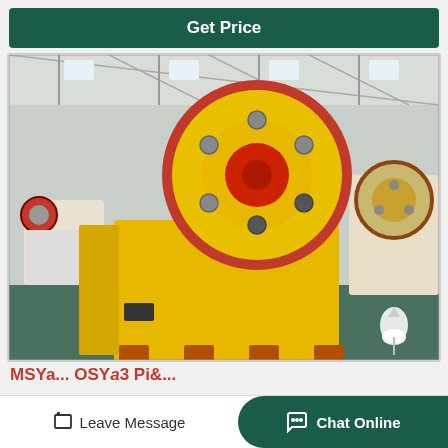Get Price
[Figure (photo): Industrial jaw crusher machine painted yellow and red, photographed in a large factory/warehouse setting. Multiple similar machines visible in the background. The main machine is front-facing with a large red-rimmed flywheel/pulley at the top.]
MSYa... OSYa3 Pi&...
Leave Message
Chat Online